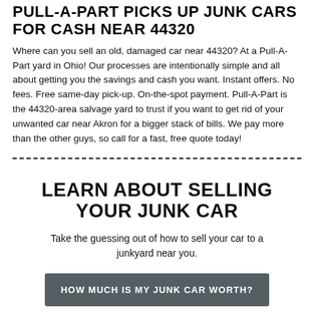PULL-A-PART PICKS UP JUNK CARS FOR CASH NEAR 44320
Where can you sell an old, damaged car near 44320? At a Pull-A-Part yard in Ohio! Our processes are intentionally simple and all about getting you the savings and cash you want. Instant offers. No fees. Free same-day pick-up. On-the-spot payment. Pull-A-Part is the 44320-area salvage yard to trust if you want to get rid of your unwanted car near Akron for a bigger stack of bills. We pay more than the other guys, so call for a fast, free quote today!
LEARN ABOUT SELLING YOUR JUNK CAR
Take the guessing out of how to sell your car to a junkyard near you.
HOW MUCH IS MY JUNK CAR WORTH?